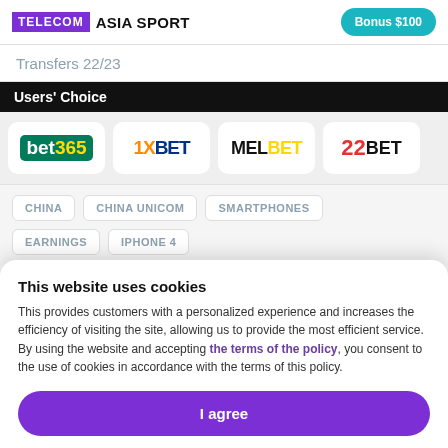TELECOM ASIA SPORT | Bonus $100
Transfers 22/23
Users' Choice
[Figure (logo): Four betting brand logos: bet365, 1XBET, MELBET, 22BET]
CHINA
CHINA UNICOM
SMARTPHONES
EARNINGS
IPHONE 4
This website uses cookies
This provides customers with a personalized experience and increases the efficiency of visiting the site, allowing us to provide the most efficient service. By using the website and accepting the terms of the policy, you consent to the use of cookies in accordance with the terms of this policy.
I agree